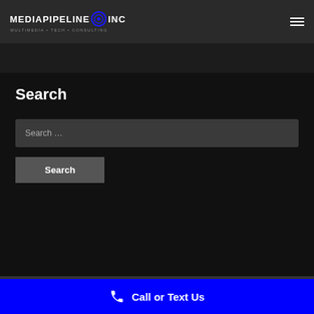MEDIAPIPELINE INC — MULTIMEDIA • TECH • CONSULTING
Search
Search …
Search
Call or Text Us